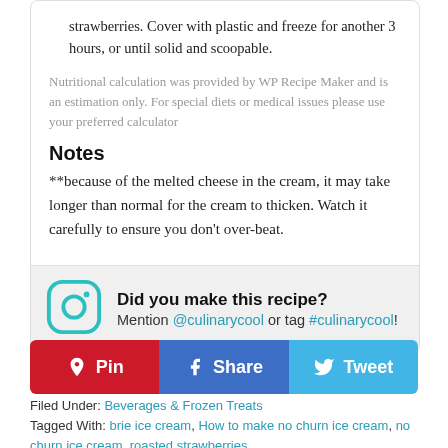strawberries. Cover with plastic and freeze for another 3 hours, or until solid and scoopable.
Nutritional calculation was provided by WP Recipe Maker and is an estimation only. For special diets or medical issues please use your preferred calculator
Notes
**because of the melted cheese in the cream, it may take longer than normal for the cream to thicken. Watch it carefully to ensure you don't over-beat.
Did you make this recipe? Mention @culinarycool or tag #culinarycool!
Pin  Share  Tweet
Filed Under: Beverages & Frozen Treats
Tagged With: brie ice cream, How to make no churn ice cream, no churn ice cream, roasted strawberries